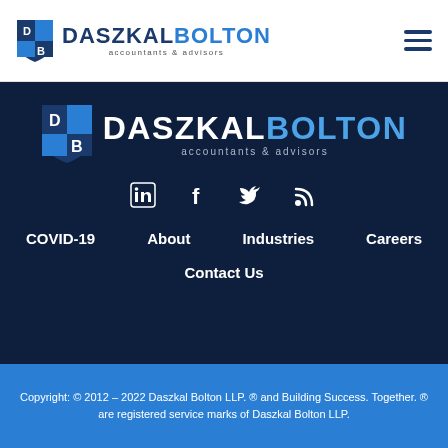[Figure (logo): Daszkal Bolton accountants & advisors logo with shield icon in white header bar]
[Figure (logo): Daszkal Bolton accountants & advisors large logo in dark navy section]
[Figure (infographic): Social media icons: LinkedIn, Facebook, Twitter, RSS feed]
COVID-19
About
Industries
Careers
Contact Us
Copyright: © 2012 – 2022 Daszkal Bolton LLP. ® and Building Success. Together. ® are registered service marks of Daszkal Bolton LLP.